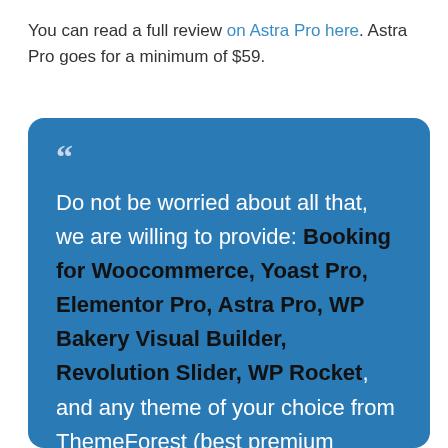You can read a full review on Astra Pro here. Astra Pro goes for a minimum of $59.
Do not be worried about all that, we are willing to provide: Booking for Woocommerce, Yoast Pro, Elementor Pro, Astra Pro, WP Bakery Visual Builder, Revolution Slider, WP Rocket, and any theme of your choice from ThemeForest (best premium themes & plugins